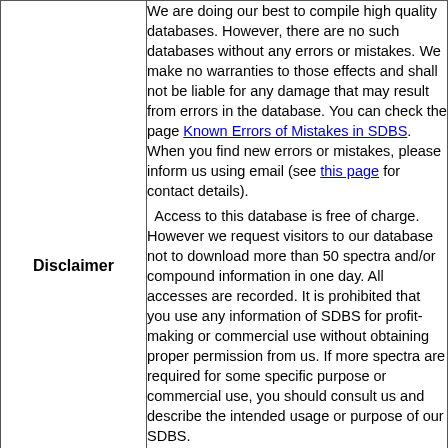Disclaimer
We are doing our best to compile high quality databases. However, there are no such databases without any errors or mistakes. We make no warranties to those effects and shall not be liable for any damage that may result from errors in the database. You can check the page Known Errors of Mistakes in SDBS. When you find new errors or mistakes, please inform us using email (see this page for contact details).
  Access to this database is free of charge. However we request visitors to our database not to download more than 50 spectra and/or compound information in one day. All accesses are recorded. It is prohibited that you use any information of SDBS for profit-making or commercial use without obtaining proper permission from us. If more spectra are required for some specific purpose or commercial use, you should consult us and describe the intended usage or purpose of our SDBS.
We also request that when you use the data of our SDBS in your publication or presentation, a proper acknowledgement be given as follows: